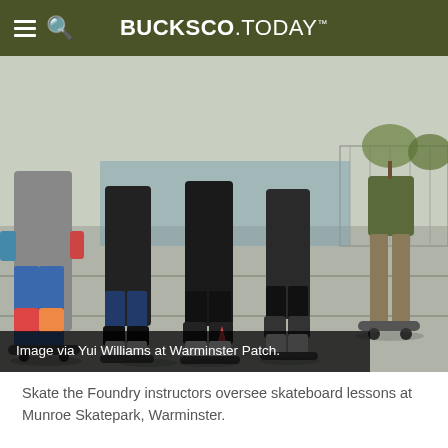BUCKSCO.TODAY
[Figure (photo): Skate the Foundry instructors overseeing skateboard lessons at Munroe Skatepark, Warminster. Multiple people on skateboards in an outdoor court with protective gear.]
Image via Yui Williams at Warminster Patch.
Skate the Foundry instructors oversee skateboard lessons at Munroe Skatepark, Warminster.
Brett Williams is bringing skateboard instructors from his Philadelphia organization, Skate The Foundry, to Warminst…